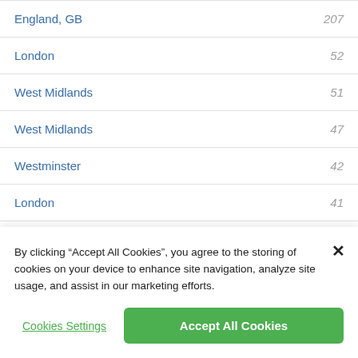England, GB — 207
London — 52
West Midlands — 51
West Midlands — 47
Westminster — 42
London — 41
Birmingham — 39
By clicking “Accept All Cookies”, you agree to the storing of cookies on your device to enhance site navigation, analyze site usage, and assist in our marketing efforts.
Cookies Settings
Accept All Cookies